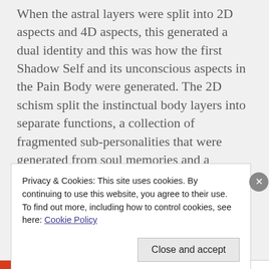When the astral layers were split into 2D aspects and 4D aspects, this generated a dual identity and this was how the first Shadow Self and its unconscious aspects in the Pain Body were generated. The 2D schism split the instinctual body layers into separate functions, a collection of fragmented sub-personalities that were generated from soul memories and a repository of personal emotional energies and the collective forces of chaos lodged in the planetary 2D layers. This lower
Privacy & Cookies: This site uses cookies. By continuing to use this website, you agree to their use.
To find out more, including how to control cookies, see here: Cookie Policy
Close and accept